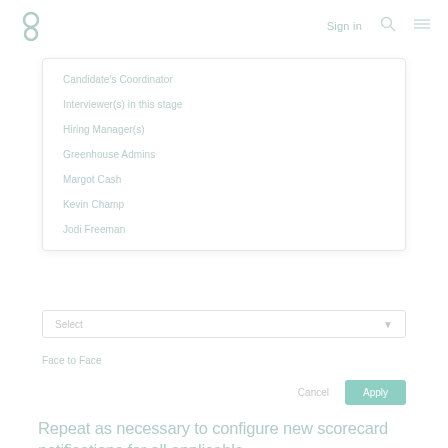[Figure (logo): Greenhouse logo icon (two circles vertically arranged in teal/green)]
Sign in
Candidate's Coordinator
Interviewer(s) in this stage
Hiring Manager(s)
Greenhouse Admins
Margot Cash
Kevin Champ
Jodi Freeman
Select
Face to Face
Cancel
Apply
Repeat as necessary to configure new scorecard notifications for all applicable